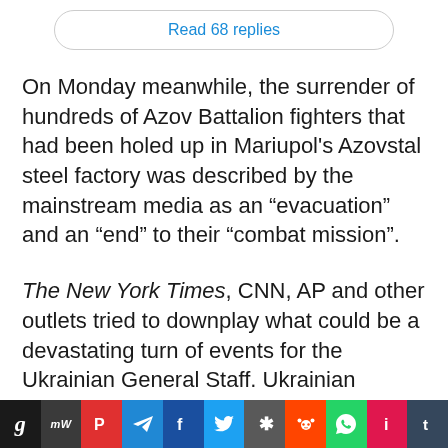Read 68 replies
On Monday meanwhile, the surrender of hundreds of Azov Battalion fighters that had been holed up in Mariupol's Azovstal steel factory was described by the mainstream media as an “evacuation” and an “end” to their “combat mission”.
The New York Times, CNN, AP and other outlets tried to downplay what could be a devastating turn of events for the Ukrainian General Staff. Ukrainian soldiers will no doubt be dismayed by the lack of
[Figure (other): Social media sharing toolbar with icons for: Gab (g), MeWe (mw), Parler (P), Telegram (paper plane), Facebook (f), Twitter (bird), Favourites/Fark (asterisk), Reddit, WhatsApp, Instagram (i), Tumblr (t)]